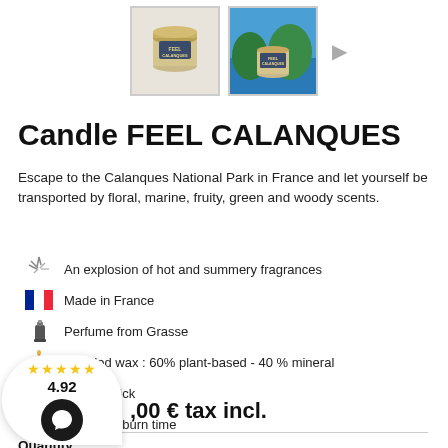[Figure (photo): Two product thumbnail images of 'Feel Calanques' candle tins, one showing the tin with lid, one showing it outdoors, with a right-arrow navigation button.]
Candle FEEL CALANQUES
Escape to the Calanques National Park in France and let yourself be transported by floral, marine, fruity, green and woody scents.
An explosion of hot and summery fragrances
Made in France
Perfume from Grasse
Blended wax : 60% plant-based - 40 % mineral
Cotton wick
55 hours burn time
,00 € tax incl.
Quantity